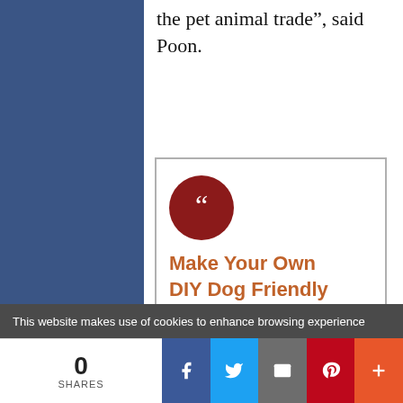the pet animal trade”, said Poon.
[Figure (other): Pull quote box with dark red circle quote icon and orange text reading: Make Your Own DIY Dog Friendly Carpet Deodorizer. Do you have some dog]
This website makes use of cookies to enhance browsing experience
0 SHARES | Facebook | Twitter | Email | Pinterest | More